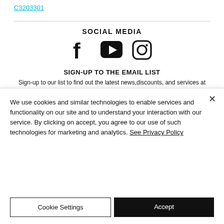C3203301
SOCIAL MEDIA
[Figure (illustration): Three social media icons: Facebook, YouTube, and Instagram displayed in a row]
SIGN-UP TO THE EMAIL LIST
Sign-up to our list to find out the latest news,discounts, and services at Arizona Center for Myotherapy!
We use cookies and similar technologies to enable services and functionality on our site and to understand your interaction with our service. By clicking on accept, you agree to our use of such technologies for marketing and analytics. See Privacy Policy